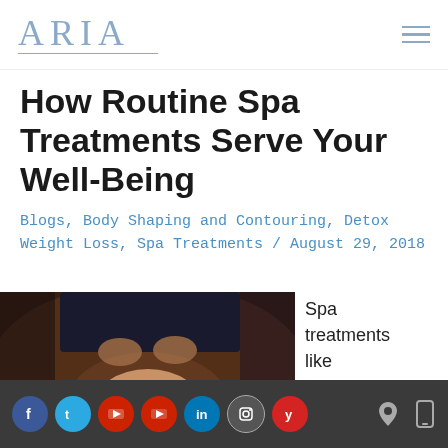ARIA
How Routine Spa Treatments Serve Your Well-Being
Blogs, Body Shaping and Contouring, Detox Weight Loss, Spa Treatments / August 29, 2018
[Figure (photo): A person receiving a head/neck massage from a therapist, viewed from the side with the client lying back.]
Spa treatments like chemical peels
Social media icons: Facebook, Twitter, YouTube (x2), LinkedIn, Instagram, Yelp; location and mobile icons